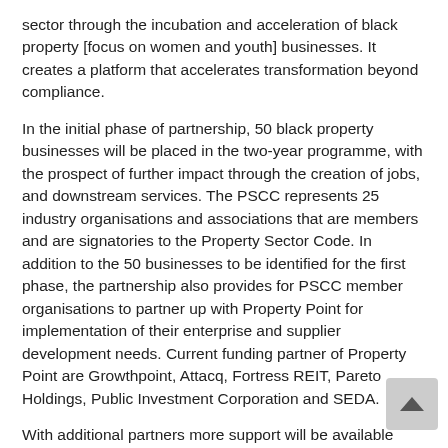sector through the incubation and acceleration of black property [focus on women and youth] businesses. It creates a platform that accelerates transformation beyond compliance.
In the initial phase of partnership, 50 black property businesses will be placed in the two-year programme, with the prospect of further impact through the creation of jobs, and downstream services. The PSCC represents 25 industry organisations and associations that are members and are signatories to the Property Sector Code. In addition to the 50 businesses to be identified for the first phase, the partnership also provides for PSCC member organisations to partner up with Property Point for implementation of their enterprise and supplier development needs. Current funding partner of Property Point are Growthpoint, Attacq, Fortress REIT, Pareto Holdings, Public Investment Corporation and SEDA.
With additional partners more support will be available leading to a dramatic increase in the number of black businesses operating in the sector. The increase in sustainable black businesses would have a cascading effect on economic growth, as well in the households and communities.